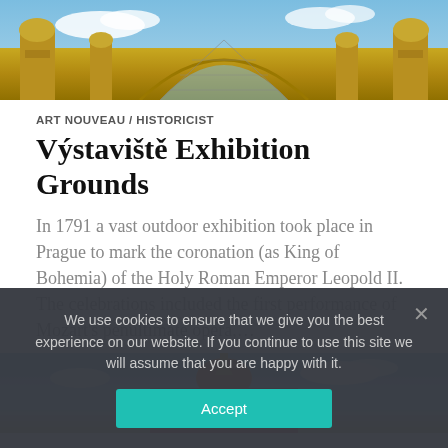[Figure (photo): Top portion of an ornate Art Nouveau building facade with golden decorative elements and scaffolding visible, blue sky background]
ART NOUVEAU / HISTORICIST
Výstaviště Exhibition Grounds
In 1791 a vast outdoor exhibition took place in Prague to mark the coronation (as King of Bohemia) of the Holy Roman Emperor Leopold II. The celebrations included the first performance of Mozart's penultimate opera,...
[Figure (photo): Partial view of an ornate historicist building with a red roof and decorative dome/tower, blue sky background]
We use cookies to ensure that we give you the best experience on our website. If you continue to use this site we will assume that you are happy with it.